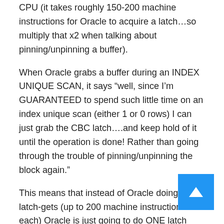CPU (it takes roughly 150-200 machine instructions for Oracle to acquire a latch…so multiply that x2 when talking about pinning/unpinning a buffer).
When Oracle grabs a buffer during an INDEX UNIQUE SCAN, it says “well, since I’m GUARANTEED to spend such little time on an index unique scan (either 1 or 0 rows) I can just grab the CBC latch….and keep hold of it until the operation is done! Rather than going through the trouble of pinning/unpinning the block again.”
This means that instead of Oracle doing 2 latch-gets (up to 200 machine instructions each) Oracle is just going to do ONE latch get…and hold it while Oracle gets the row from the